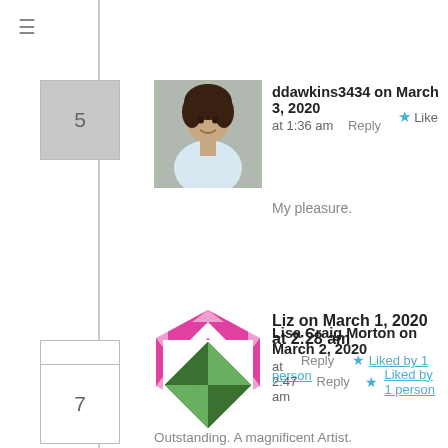≡
5 — ddawkins3434 on March 3, 2020 at 1:36 am | Reply | Like
My pleasure.
6 — Liz on March 1, 2020 at 2:28 am | Reply | Liked by 1 person
Outstanding. A magnificent Artist. Queen continue to give us the opportunity to experience the beauty of life through her art. Thank you Queen.
7 — Lisa Craig Morton on March 2, 2020 at 2:47 am | Reply | Liked by 1 person